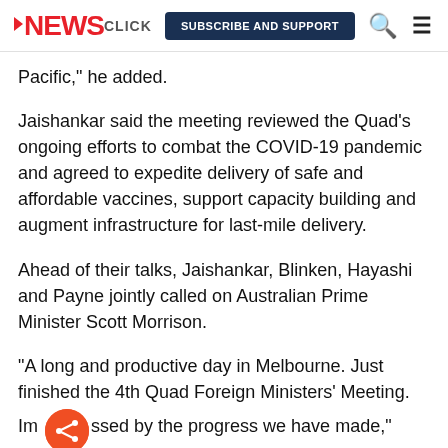NEWSCLICK | SUBSCRIBE AND SUPPORT
Pacific," he added.
Jaishankar said the meeting reviewed the Quad's ongoing efforts to combat the COVID-19 pandemic and agreed to expedite delivery of safe and affordable vaccines, support capacity building and augment infrastructure for last-mile delivery.
Ahead of their talks, Jaishankar, Blinken, Hayashi and Payne jointly called on Australian Prime Minister Scott Morrison.
"A long and productive day in Melbourne. Just finished the 4th Quad Foreign Ministers' Meeting. Im[ssed by the progress we have made," Jaishankar said on Twitter.